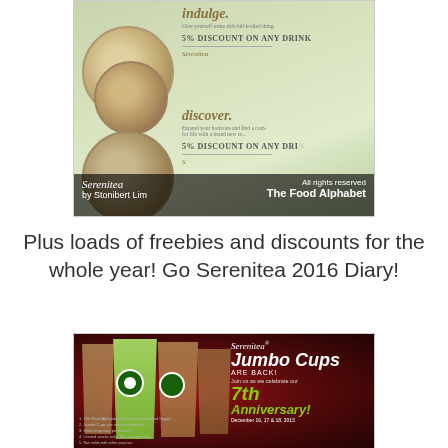[Figure (photo): Photo of Serenitea drinks/coupons with discount leaflet showing '5% DISCOUNT ON ANY DRINK' text, with watermark 'Serenitea by Stonibert Lim' and 'All rights reserved The Food Alphabet']
Plus loads of freebies and discounts for the whole year! Go Serenitea 2016 Diary!
[Figure (photo): Serenitea promotional photo showing Jumbo Cups Are Back with 7th Anniversary celebration, December 16, 17 & 18, 2015]